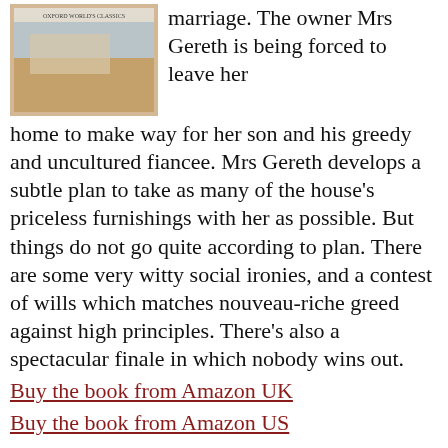[Figure (photo): Book cover of an Oxford World's Classics edition, showing a painting-like image with muted warm tones, top portion of a building or landscape visible]
marriage. The owner Mrs Gereth is being forced to leave her home to make way for her son and his greedy and uncultured fiancee. Mrs Gereth develops a subtle plan to take as many of the house's priceless furnishings with her as possible. But things do not go quite according to plan. There are some very witty social ironies, and a contest of wills which matches nouveau-riche greed against high principles. There's also a spectacular finale in which nobody wins out.
Buy the book from Amazon UK
Buy the book from Amazon US
[Figure (photo): Book cover showing a period scene with elegantly dressed figures, likely a social gathering from the 19th century]
Daisy Miller (1879) is a key story from James's early phase in which a spirited young